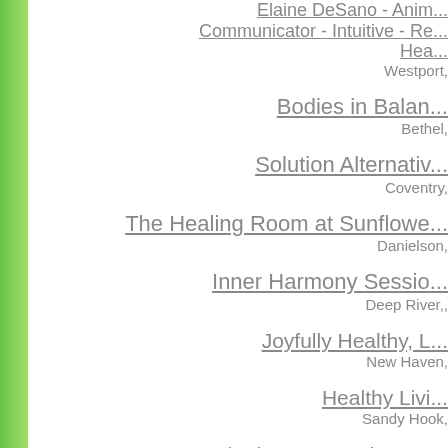Elaine DeSano - Animal Communicator - Intuitive - Re... Hea...
Westport,
Bodies in Balan...
Bethel,
Solution Alternativ...
Coventry,
The Healing Room at Sunflowe...
Danielson,
Inner Harmony Sessio...
Deep River,,
Joyfully Healthy, L...
New Haven,
Healthy Livi...
Sandy Hook,
Psychotherapy Services, L...
West Hartford,
Westport Wellne...
westport,